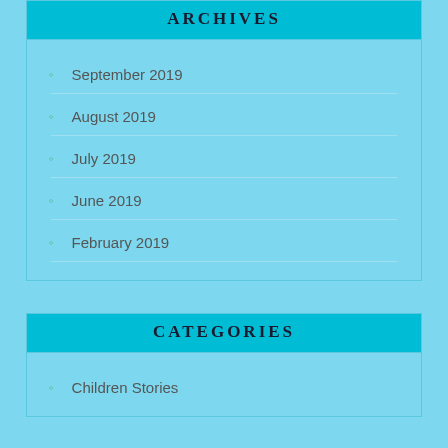ARCHIVES
September 2019
August 2019
July 2019
June 2019
February 2019
CATEGORIES
Children Stories